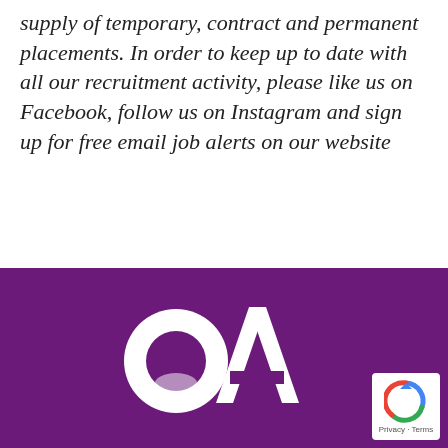supply of temporary, contract and permanent placements. In order to keep up to date with all our recruitment activity, please like us on Facebook, follow us on Instagram and sign up for free email job alerts on our website
[Figure (logo): OA recruitment company logo in white on purple background, with reCAPTCHA badge in bottom right corner]